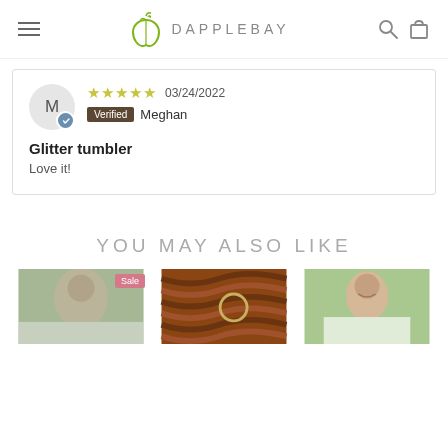DAPPLEBAY
★★★★★ 03/24/2022 Verified Meghan
Glitter tumbler
Love it!
YOU MAY ALSO LIKE
[Figure (photo): Three product thumbnail photos: woman wearing jewelry (with Sale badge), braided horse hair with ring, woman smiling with chain bit]
Sale